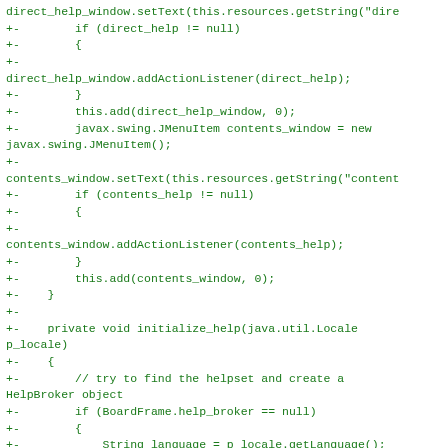Code diff showing Java source additions with direct_help_window and contents_window menu items, addActionListener calls, initialize_help method, and HelpBroker setup logic.